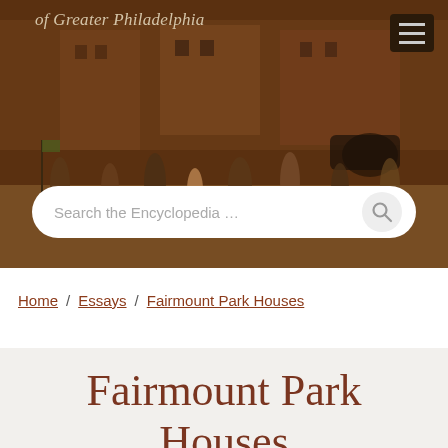[Figure (photo): Historical painting of a street scene in Greater Philadelphia with figures in period clothing, sepia/brown tones, with a search bar overlay]
of Greater Philadelphia
Search the Encyclopedia …
Home / Essays / Fairmount Park Houses
Fairmount Park Houses